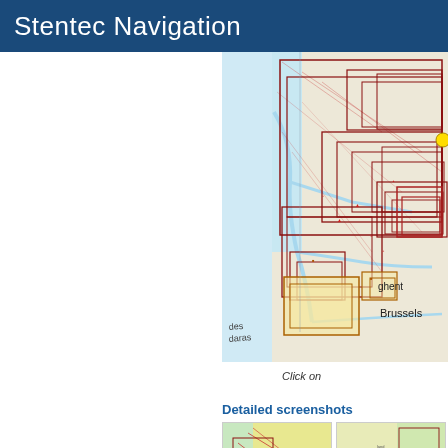Stentec Navigation
[Figure (map): Nautical chart coverage map showing Belgium/Netherlands coast and inland waterways with red chart boundary rectangles overlaid on a nautical chart background. Cities visible include Ghent and Brussels. The map shows the North Sea coast on the left (light blue water area) and inland areas with a network of overlapping red/dark red rectangular chart coverage zones.]
Click on
Detailed screenshots
[Figure (map): Detailed screenshot thumbnail 1 of nautical chart showing coastal/waterway detail with yellow land areas, water in light blue/green, and red navigational markings.]
[Figure (map): Detailed screenshot thumbnail 2 of nautical chart showing similar coastal detail with yellow land, teal water, and red dotted navigational markings.]